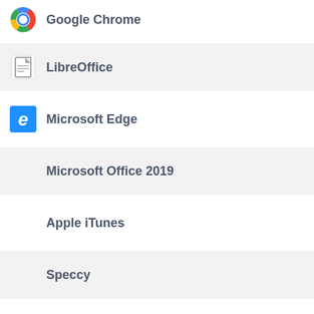Google Chrome
LibreOffice
Microsoft Edge
Microsoft Office 2019
Apple iTunes
Speccy
IrfanView
AnyDesk